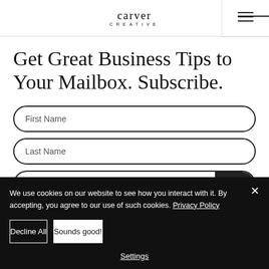carver CREATIVE
Get Great Business Tips to Your Mailbox. Subscribe.
First Name
Last Name
Enter your email here* Join
We use cookies on our website to see how you interact with it. By accepting, you agree to our use of such cookies. Privacy Policy
Decline All
Sounds good!
Settings